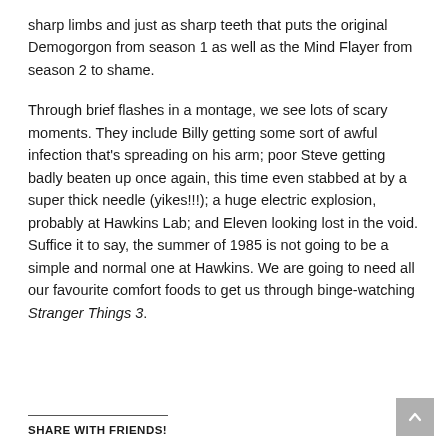sharp limbs and just as sharp teeth that puts the original Demogorgon from season 1 as well as the Mind Flayer from season 2 to shame.
Through brief flashes in a montage, we see lots of scary moments. They include Billy getting some sort of awful infection that's spreading on his arm; poor Steve getting badly beaten up once again, this time even stabbed at by a super thick needle (yikes!!!); a huge electric explosion, probably at Hawkins Lab; and Eleven looking lost in the void. Suffice it to say, the summer of 1985 is not going to be a simple and normal one at Hawkins. We are going to need all our favourite comfort foods to get us through binge-watching Stranger Things 3.
SHARE WITH FRIENDS!